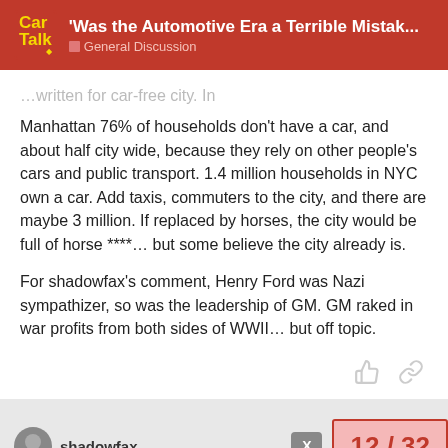'Was the Automotive Era a Terrible Mistak... | General Discussion
...written for car-free city. In Manhattan 76% of households don't have a car, and about half city wide, because they rely on other people's cars and public transport. 1.4 million households in NYC own a car. Add taxis, commuters to the city, and there are maybe 3 million. If replaced by horses, the city would be full of horse ****… but some believe the city already is.
For shadowfax's comment, Henry Ford was Nazi sympathizer, so was the leadership of GM. GM raked in war profits from both sides of WWII… but off topic.
shadowfax
12 / 32